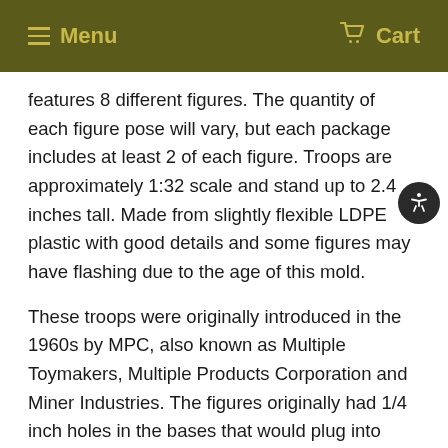Menu  Cart
features 8 different figures. The quantity of each figure pose will vary, but each package includes at least 2 of each figure. Troops are approximately 1:32 scale and stand up to 2.4 inches tall. Made from slightly flexible LDPE plastic with good details and some figures may have flashing due to the age of this mold.
These troops were originally introduced in the 1960s by MPC, also known as Multiple Toymakers, Multiple Products Corporation and Miner Industries. The figures originally had 1/4 inch holes in the bases that would plug into various accessories. For this reissue the holes have been closed up so they match other figures better. These were later produced by other companies and even included in a Marx Battleground Playset revival in the 1990s. These will make